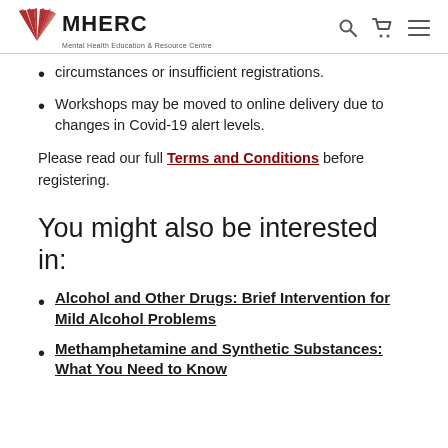MHERC - Mental Health Education & Resource Centre
circumstances or insufficient registrations.
Workshops may be moved to online delivery due to changes in Covid-19 alert levels.
Please read our full Terms and Conditions before registering.
You might also be interested in:
Alcohol and Other Drugs: Brief Intervention for Mild Alcohol Problems
Methamphetamine and Synthetic Substances: What You Need to Know